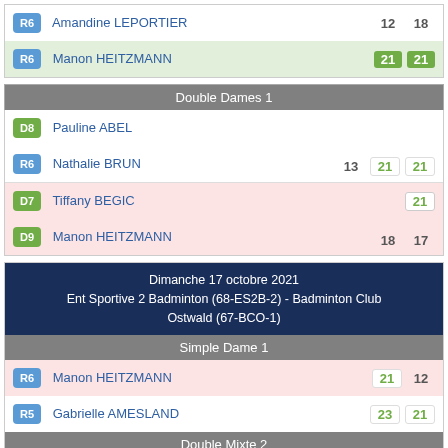| Badge | Player | Scores |
| --- | --- | --- |
| R6 | Amandine LEPORTIER | 12 18 |
| R6 | Manon HEITZMANN | 21 21 |
Double Dames 1
| Badge | Player | Scores |
| --- | --- | --- |
| D8 | Pauline ABEL |  |
| R6 | Nathalie BRUN | 13 21 21 |
| D7 | Tiffany BEGIC | 21 18 17 |
| D9 | Manon HEITZMANN |  |
Dimanche 17 octobre 2021
Ent Sportive 2 Badminton (68-ES2B-2) - Badminton Club Ostwald (67-BCO-1)
Simple Dame 1
| Badge | Player | Scores |
| --- | --- | --- |
| R6 | Manon HEITZMANN | 21 12 |
| R5 | Gabrielle AMESLAND | 23 21 |
Double Mixte 2
| Badge | Player | Scores |
| --- | --- | --- |
| D7 | Alex WEISSGERBER |  |